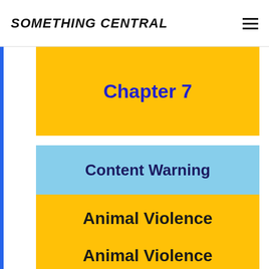SOMETHING CENTRAL
Chapter 7
Content Warning
Animal Violence
Animal Violence